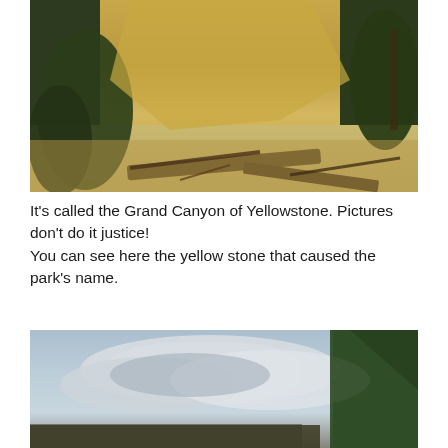[Figure (photo): Photograph of the Grand Canyon of Yellowstone showing yellow and tan rock cliffs with pine/juniper trees on left and right sides, rocky canyon floor with fallen branches and roots in the foreground.]
It's called the Grand Canyon of Yellowstone. Pictures don't do it justice!
You can see here the yellow stone that caused the park's name.
[Figure (photo): Photograph showing a cloudy sky with large cumulus clouds in shades of white and grey-blue, with evergreen tree foliage visible on the right side and dark treeline at the bottom.]